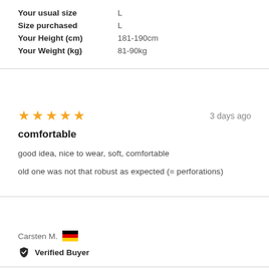Your usual size   L
Size purchased   L
Your Height (cm)   181-190cm
Your Weight (kg)   81-90kg
[Figure (other): 5 yellow stars rating]
3 days ago
comfortable
good idea, nice to wear, soft, comfortable

old one was not that robust as expected (= perforations)
Carsten M.
Verified Buyer